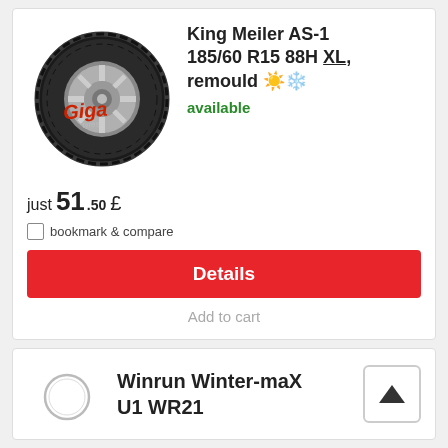[Figure (photo): Tire product image: King Meiler AS-1 tire with alloy wheel, watermark 'Giga Tyres' in red on the image]
King Meiler AS-1 185/60 R15 88H XL, remould ☀❄
available
just 51.50 £
bookmark & compare
Details
Add to cart
Winrun Winter-maX U1 WR21